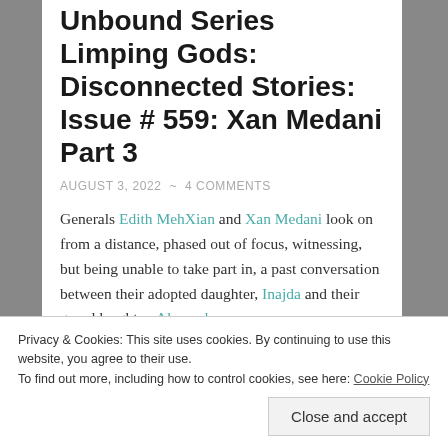Unbound Series Limping Gods: Disconnected Stories: Issue # 559: Xan Medani Part 3
AUGUST 3, 2022  ~  4 COMMENTS
Generals Edith MehXian and Xan Medani look on from a distance, phased out of focus, witnessing, but being unable to take part in, a past conversation between their adopted daughter, Inajda and their granddaughter, Alexand.
Privacy & Cookies: This site uses cookies. By continuing to use this website, you agree to their use.
To find out more, including how to control cookies, see here: Cookie Policy
Close and accept